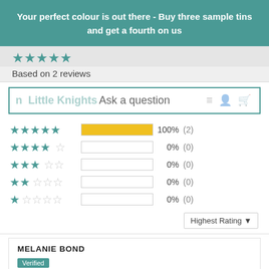Your perfect colour is out there - Buy three sample tins and get a fourth on us
Based on 2 reviews
Ask a question
| Stars | Bar | Percent | Count |
| --- | --- | --- | --- |
| 5 stars | 100% | 100% | (2) |
| 4 stars | 0% | 0% | (0) |
| 3 stars | 0% | 0% | (0) |
| 2 stars | 0% | 0% | (0) |
| 1 star | 0% | 0% | (0) |
Highest Rating ▼
MELANIE BOND
Verified